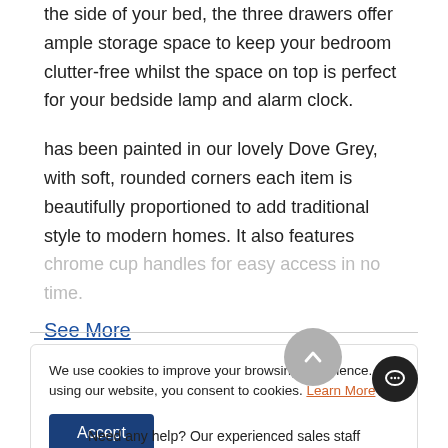the side of your bed, the three drawers offer ample storage space to keep your bedroom clutter-free whilst the space on top is perfect for your bedside lamp and alarm clock.
has been painted in our lovely Dove Grey, with soft, rounded corners each item is beautifully proportioned to add traditional style to modern homes. It also features chrome cup handles for easy access in no time.
See More
We use cookies to improve your browsing experience. By using our website, you consent to cookies. Learn More
Accept
Need any help? Our experienced sales staff